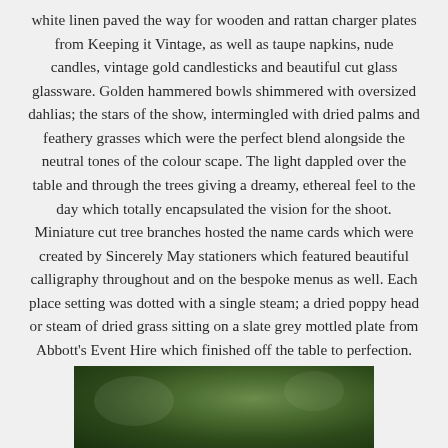white linen paved the way for wooden and rattan charger plates from Keeping it Vintage, as well as taupe napkins, nude candles, vintage gold candlesticks and beautiful cut glass glassware. Golden hammered bowls shimmered with oversized dahlias; the stars of the show, intermingled with dried palms and feathery grasses which were the perfect blend alongside the neutral tones of the colour scape. The light dappled over the table and through the trees giving a dreamy, ethereal feel to the day which totally encapsulated the vision for the shoot. Miniature cut tree branches hosted the name cards which were created by Sincerely May stationers which featured beautiful calligraphy throughout and on the bespoke menus as well. Each place setting was dotted with a single steam; a dried poppy head or steam of dried grass sitting on a slate grey mottled plate from Abbott's Event Hire which finished off the table to perfection.
[Figure (photo): Blurred outdoor photograph showing green foliage and trees with bokeh effect]